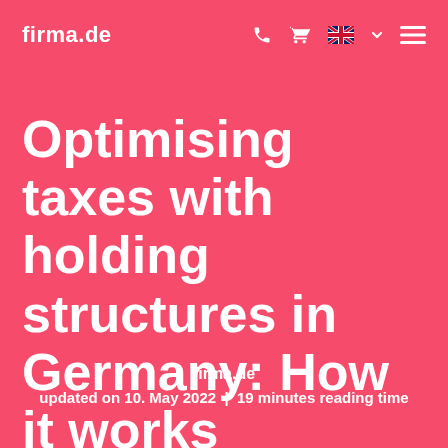firma.de
Optimising taxes with holding structures in Germany: How it works
firma.de
updated on 10. May 2022  |  19 minutes reading time